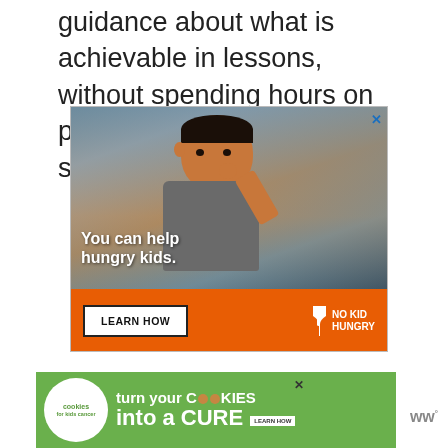guidance about what is achievable in lessons, without spending hours on preparing individual task sheets eg:
[Figure (photo): Advertisement for No Kid Hungry charity showing a young boy eating in a classroom setting. Text overlay reads 'You can help hungry kids.' with a 'LEARN HOW' button and No Kid Hungry logo on an orange background banner.]
[Figure (photo): Advertisement for 'Cookies for Kids Cancer' on a green background showing 'turn your COOKIES into a CURE LEARN HOW' with cookies logo on left.]